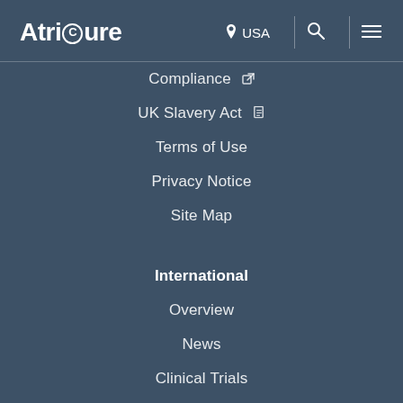AtriCure | USA | [search] [menu]
Compliance [external link]
UK Slavery Act [PDF]
Terms of Use
Privacy Notice
Site Map
International
Overview
News
Clinical Trials
Contact Us
SentreHEART® [external link]